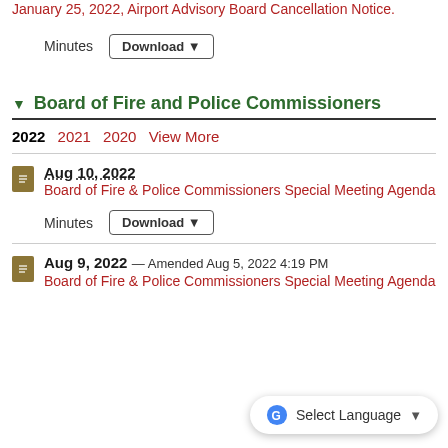January 25, 2022, Airport Advisory Board Cancellation Notice.
Minutes  Download
▼ Board of Fire and Police Commissioners
2022  2021  2020  View More
Aug 10, 2022
Board of Fire & Police Commissioners Special Meeting Agenda
Minutes  Download
Aug 9, 2022 — Amended Aug 5, 2022 4:19 PM
Board of Fire & Police Commissioners Special Meeting Agenda